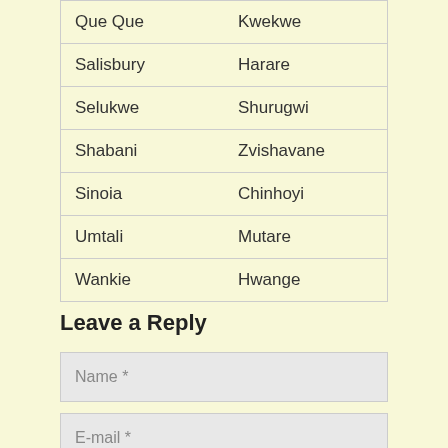| Que Que | Kwekwe |
| Salisbury | Harare |
| Selukwe | Shurugwi |
| Shabani | Zvishavane |
| Sinoia | Chinhoyi |
| Umtali | Mutare |
| Wankie | Hwange |
Leave a Reply
Name *
E-mail *